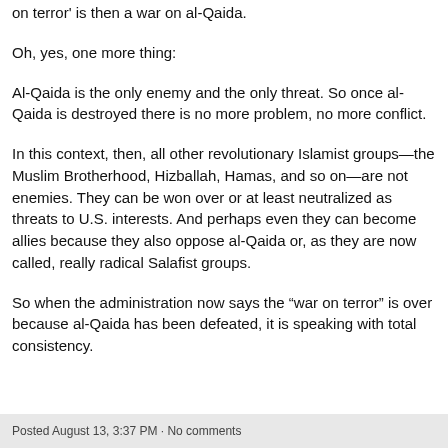on terror' is then a war on al-Qaida.
Oh, yes, one more thing:
Al-Qaida is the only enemy and the only threat. So once al-Qaida is destroyed there is no more problem, no more conflict.
In this context, then, all other revolutionary Islamist groups—the Muslim Brotherhood, Hizballah, Hamas, and so on—are not enemies. They can be won over or at least neutralized as threats to U.S. interests. And perhaps even they can become allies because they also oppose al-Qaida or, as they are now called, really radical Salafist groups.
So when the administration now says the “war on terror” is over because al-Qaida has been defeated, it is speaking with total consistency.
Posted August 13, 3:37 PM · No comments